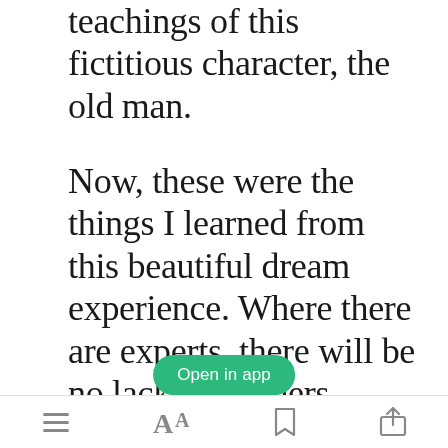teachings of this fictitious character, the old man.
Now, these were the things I learned from this beautiful dream experience. Where there are experts, there will be no lack of learners. Experience comes from learning true skills from an expert. Love is wide and deep. No man can truly know love genuinely if it isn't taught. The school where love is
[Figure (screenshot): Green 'Open in app' button overlay]
Bottom navigation bar with menu, font size, bookmark, and share icons